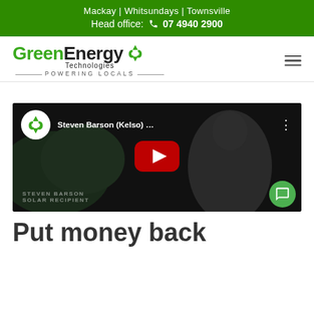Mackay | Whitsundays | Townsville
Head office: 07 4940 2900
[Figure (logo): Green Energy Technologies logo with recycling arrow icon and tagline POWERING LOCALS]
[Figure (screenshot): YouTube video thumbnail for Steven Barson (Kelso) testimonial video with play button]
Put money back